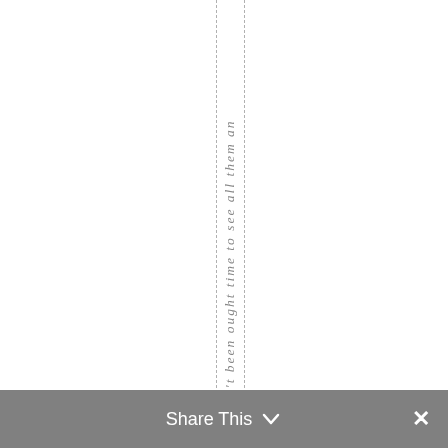wouldn't been ought time to see all them an
Share This  ×